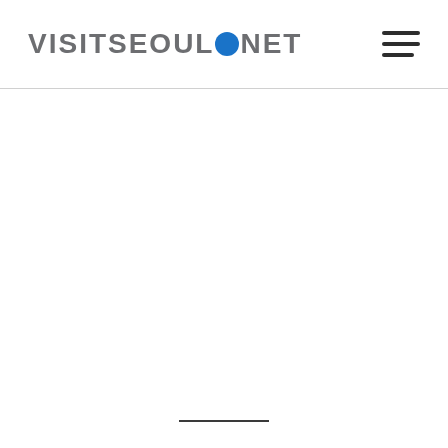VISITSEOUL.NET
[Figure (other): Hamburger menu icon with two horizontal lines in top right corner]